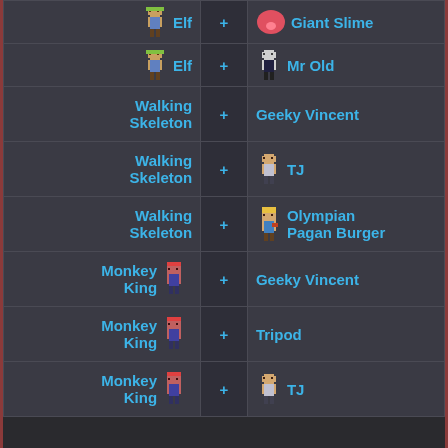| Character 1 | + | Character 2 |
| --- | --- | --- |
| Elf | + | Giant Slime |
| Elf | + | Mr Old |
| Walking Skeleton | + | Geeky Vincent |
| Walking Skeleton | + | TJ |
| Walking Skeleton | + | Olympian Pagan Burger |
| Monkey King | + | Geeky Vincent |
| Monkey King | + | Tripod |
| Monkey King | + | TJ |